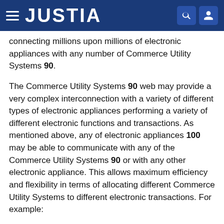JUSTIA
connecting millions upon millions of electronic appliances with any number of Commerce Utility Systems 90.
The Commerce Utility Systems 90 web may provide a very complex interconnection with a variety of different types of electronic appliances performing a variety of different electronic functions and transactions. As mentioned above, any of electronic appliances 100 may be able to communicate with any of the Commerce Utility Systems 90 or with any other electronic appliance. This allows maximum efficiency and flexibility in terms of allocating different Commerce Utility Systems to different electronic transactions. For example:
Geographically close Commerce Utility Systems might best be used to minimize the amount of time it takes to get messages back